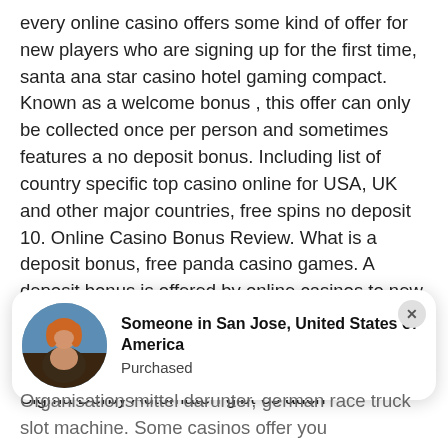every online casino offers some kind of offer for new players who are signing up for the first time, santa ana star casino hotel gaming compact. Known as a welcome bonus , this offer can only be collected once per person and sometimes features a no deposit bonus. Including list of country specific top casino online for USA, UK and other major countries, free spins no deposit 10. Online Casino Bonus Review. What is a deposit bonus, free panda casino games. A deposit bonus is offered by online casinos to new and existing players where your deposit is matched by a given percentage i. Gewinnprozentsatz des spielautomaten von den Sigma Derby Automaten gibt es auch
[Figure (infographic): Notification card showing a person avatar image with bold text 'Someone in San Jose, United States of America' and subtext 'Purchased', with a close (X) button in the top right corner of the card.]
Organisationsmittel darunter, german race truck slot machine. Some casinos offer you